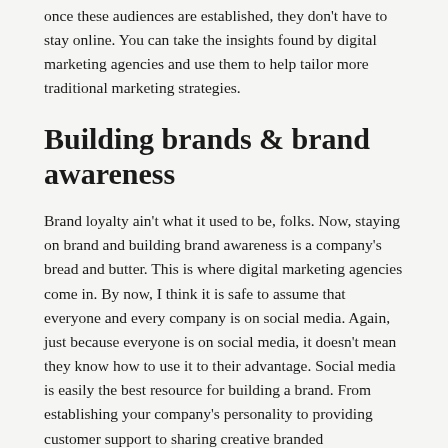once these audiences are established, they don't have to stay online. You can take the insights found by digital marketing agencies and use them to help tailor more traditional marketing strategies.
Building brands & brand awareness
Brand loyalty ain't what it used to be, folks. Now, staying on brand and building brand awareness is a company's bread and butter. This is where digital marketing agencies come in. By now, I think it is safe to assume that everyone and every company is on social media. Again, just because everyone is on social media, it doesn't mean they know how to use it to their advantage. Social media is easily the best resource for building a brand. From establishing your company's personality to providing customer support to sharing creative branded deliverables, social media is the best, and by far the cheapest, way to